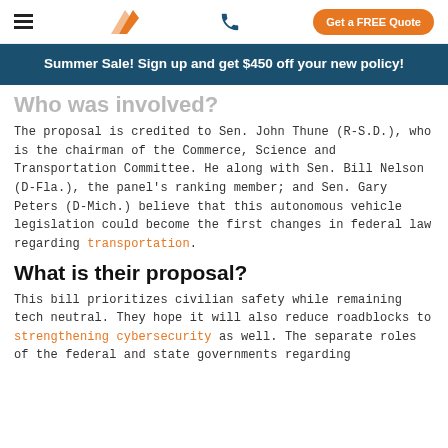Navigation bar with hamburger menu, logo, phone icon, and Get a FREE Quote button
Summer Sale! Sign up and get $450 off your new policy!
Who was involved?
The proposal is credited to Sen. John Thune (R-S.D.), who is the chairman of the Commerce, Science and Transportation Committee. He along with Sen. Bill Nelson (D-Fla.), the panel's ranking member; and Sen. Gary Peters (D-Mich.) believe that this autonomous vehicle legislation could become the first changes in federal law regarding transportation.
What is their proposal?
This bill prioritizes civilian safety while remaining tech neutral. They hope it will also reduce roadblocks to strengthening cybersecurity as well. The separate roles of the federal and state governments regarding